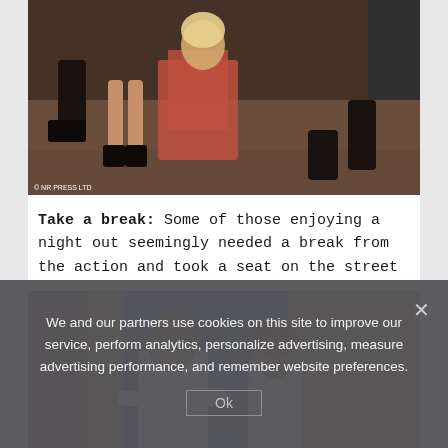[Figure (photo): Street scene showing people sitting on the ground at night, legs visible, one person in a red dress and black boots]
Take a break: Some of those enjoying a night out seemingly needed a break from the action and took a seat on the street
[Figure (photo): Two people standing and interacting outside a building at night, one in a white t-shirt and one in a light top]
We and our partners use cookies on this site to improve our service, perform analytics, personalize advertising, measure advertising performance, and remember website preferences.